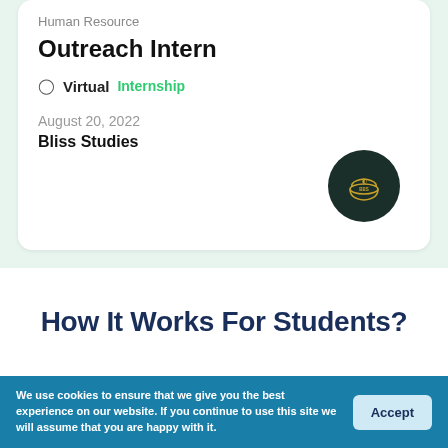Human Resource
Outreach Intern
Virtual   Internship
August 20, 2022
Bliss Studies
How It Works For Students?
We use cookies to ensure that we give you the best experience on our website. If you continue to use this site we will assume that you are happy with it.